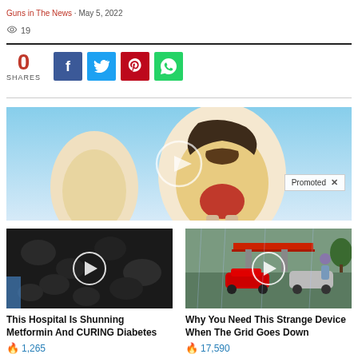Guns in The News · May 5, 2022
19
[Figure (illustration): Illustration of a cross-section of a tooth with decay, shown against a light blue background, with a play button overlay in the center]
Promoted X
[Figure (photo): Photo of dark dried fruit (raisins) with a play button overlay]
This Hospital Is Shunning Metformin And CURING Diabetes
1,265
[Figure (photo): Photo of a gas station with red car and person walking in rain, with a play button overlay]
Why You Need This Strange Device When The Grid Goes Down
17,590